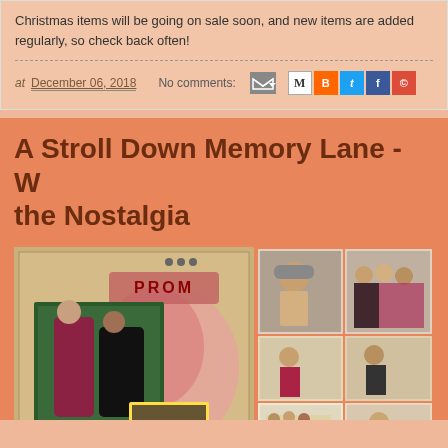Christmas items will be going on sale soon, and new items are added regularly, so check back often!
at December 06, 2018  No comments:
A Stroll Down Memory Lane - the Nostalgia
[Figure (photo): Scrapbook collage with prom/formal event photos showing couples and groups dressed in formal attire]